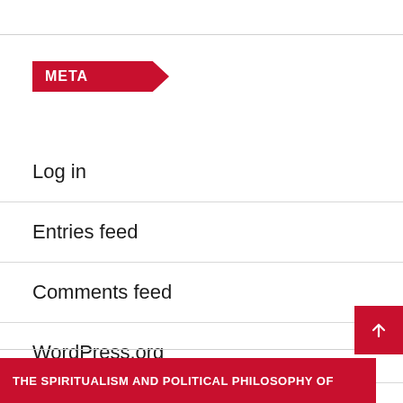META
Log in
Entries feed
Comments feed
WordPress.org
THE SPIRITUALISM AND POLITICAL PHILOSOPHY OF